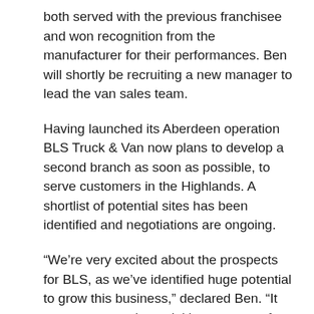both served with the previous franchisee and won recognition from the manufacturer for their performances. Ben will shortly be recruiting a new manager to lead the van sales team.
Having launched its Aberdeen operation BLS Truck & Van now plans to develop a second branch as soon as possible, to serve customers in the Highlands. A shortlist of potential sites has been identified and negotiations are ongoing.
“We’re very excited about the prospects for BLS, as we’ve identified huge potential to grow this business,” declared Ben. “It represents a substantial investment, of course. But with our exemplary customer service, and the enthusiastic backing of our partners at Mercedes-Benz, I have every confidence that we can make it work.”